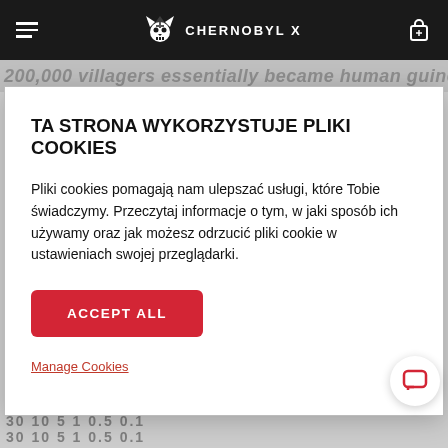CHERNOBYL X
200,000 villagers essentially became human guinea
TA STRONA WYKORZYSTUJE PLIKI COOKIES
Pliki cookies pomagają nam ulepszać usługi, które Tobie świadczymy. Przeczytaj informacje o tym, w jaki sposób ich używamy oraz jak możesz odrzucić pliki cookie w ustawieniach swojej przeglądarki.
ACCEPT ALL
Manage Cookies
30 10 5 1 0.5 0.1